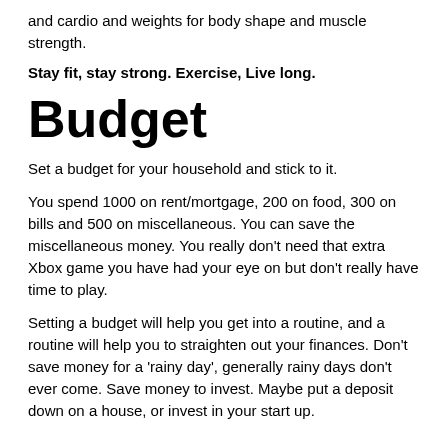and cardio and weights for body shape and muscle strength.
Stay fit, stay strong. Exercise, Live long.
Budget
Set a budget for your household and stick to it.
You spend 1000 on rent/mortgage, 200 on food, 300 on bills and 500 on miscellaneous. You can save the miscellaneous money. You really don't need that extra Xbox game you have had your eye on but don't really have time to play.
Setting a budget will help you get into a routine, and a routine will help you to straighten out your finances. Don't save money for a ‘rainy day’, generally rainy days don't ever come. Save money to invest. Maybe put a deposit down on a house, or invest in your start up.